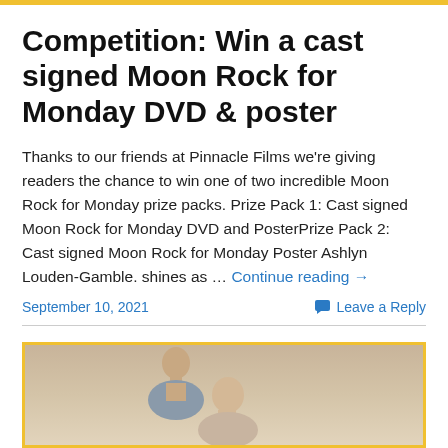Competition: Win a cast signed Moon Rock for Monday DVD & poster
Thanks to our friends at Pinnacle Films we're giving readers the chance to win one of two incredible Moon Rock for Monday prize packs. Prize Pack 1: Cast signed Moon Rock for Monday DVD and PosterPrize Pack 2: Cast signed Moon Rock for Monday Poster Ashlyn Louden-Gamble. shines as … Continue reading →
September 10, 2021
Leave a Reply
[Figure (photo): Partial image showing two people, partially cropped, with a warm beige/sandy background. Yellow border frame around the image.]